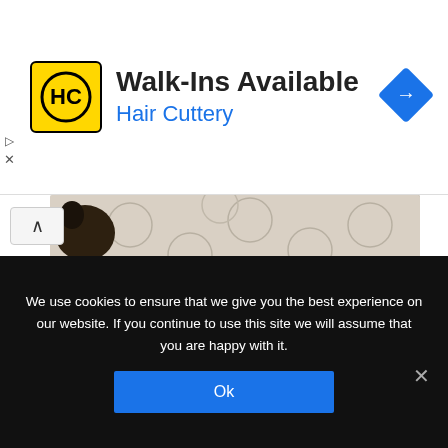[Figure (screenshot): Hair Cuttery advertisement banner with logo, 'Walk-Ins Available' heading, 'Hair Cuttery' subtitle, and navigation diamond icon]
[Figure (photo): Partial view of a cat or animal nestled among patterned fabric/blankets, with dark coloring visible on the left side]
Expect them to eat and sleep a lot, nestled by their mom's body for warmth and comfort. They may whimper once they begin learning to, and though they might squirm or move around the bed, don't expect them to run or cause any trouble. As long as they are by their mom's side, you can enjoy the peace… For now!
We use cookies to ensure that we give you the best experience on our website. If you continue to use this site we will assume that you are happy with it.